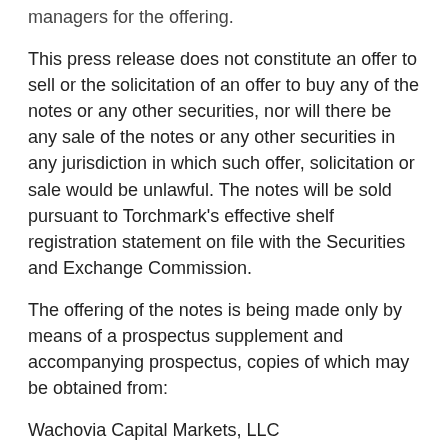managers for the offering.
This press release does not constitute an offer to sell or the solicitation of an offer to buy any of the notes or any other securities, nor will there be any sale of the notes or any other securities in any jurisdiction in which such offer, solicitation or sale would be unlawful. The notes will be sold pursuant to Torchmark's effective shelf registration statement on file with the Securities and Exchange Commission.
The offering of the notes is being made only by means of a prospectus supplement and accompanying prospectus, copies of which may be obtained from:
Wachovia Capital Markets, LLC
c/o Wachovia Customer Information Center
1525 West W.T. Harris Boulevard
Charlotte, North Carolina 28262-0675
Attention: Syndicate Operations
1-800-326-5897